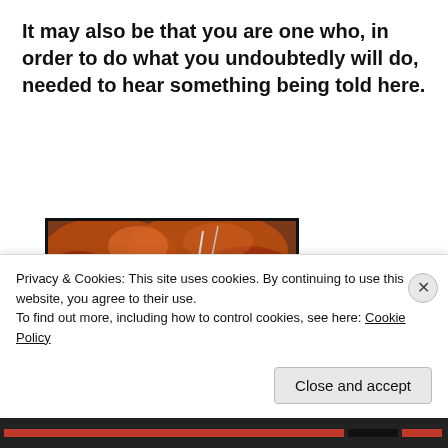It may also be that you are one who, in order to do what you undoubtedly will do, needed to hear something being told here.
[Figure (illustration): A dark dramatic painting or illustration showing a large bird (possibly an eagle or raven) with spread wings amid a stormy, fiery sky with lightning, above turbulent waters or landscape. Figures visible in the lower portion.]
Privacy & Cookies: This site uses cookies. By continuing to use this website, you agree to their use.
To find out more, including how to control cookies, see here: Cookie Policy
Close and accept